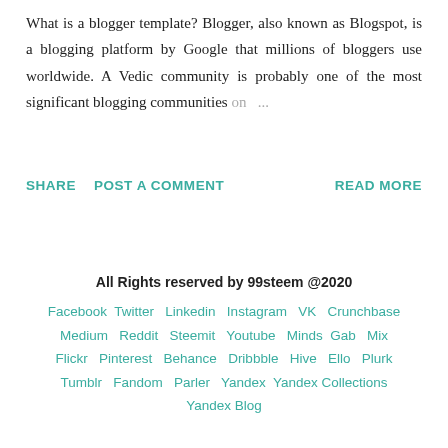What is a blogger template? Blogger, also known as Blogspot, is a blogging platform by Google that millions of bloggers use worldwide. A Vedic community is probably one of the most significant blogging communities on ...
SHARE   POST A COMMENT   READ MORE
All Rights reserved by 99steem @2020
Facebook Twitter Linkedin Instagram VK Crunchbase Medium Reddit Steemit Youtube Minds Gab Mix Flickr Pinterest Behance Dribbble Hive Ello Plurk Tumblr Fandom Parler Yandex Yandex Collections Yandex Blog